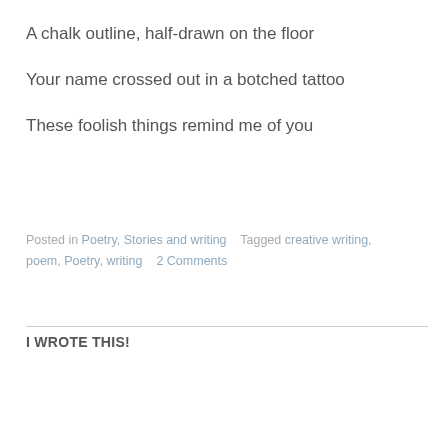A chalk outline, half-drawn on the floor
Your name crossed out in a botched tattoo
These foolish things remind me of you
Posted in Poetry, Stories and writing   Tagged creative writing, poem, Poetry, writing   2 Comments
I WROTE THIS!